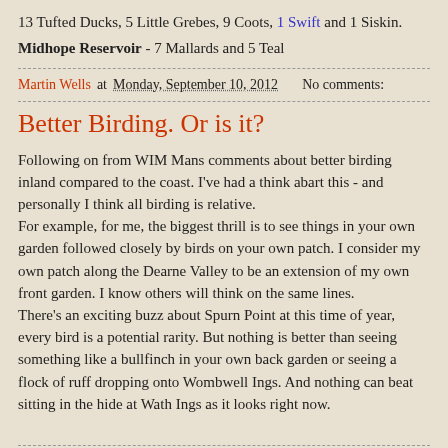13 Tufted Ducks, 5 Little Grebes, 9 Coots, 1 Swift and 1 Siskin.
Midhope Reservoir - 7 Mallards and 5 Teal
Martin Wells at Monday, September 10, 2012   No comments:
Better Birding. Or is it?
Following on from WIM Mans comments about better birding inland compared to the coast. I've had a think abart this - and personally I think all birding is relative.
For example, for me, the biggest thrill is to see things in your own garden followed closely by birds on your own patch. I consider my own patch along the Dearne Valley to be an extension of my own front garden. I know others will think on the same lines.
There's an exciting buzz about Spurn Point at this time of year, every bird is a potential rarity. But nothing is better than seeing something like a bullfinch in your own back garden or seeing a flock of ruff dropping onto Wombwell Ings. And nothing can beat sitting in the hide at Wath Ings as it looks right now.